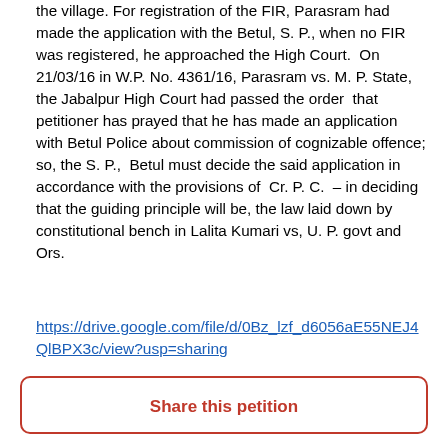the village. For registration of the FIR, Parasram had made the application with the Betul, S. P., when no FIR was registered, he approached the High Court.  On 21/03/16 in W.P. No. 4361/16, Parasram vs. M. P. State, the Jabalpur High Court had passed the order  that petitioner has prayed that he has made an application with Betul Police about commission of cognizable offence; so, the S. P.,  Betul must decide the said application in accordance with the provisions of  Cr. P. C.  – in deciding that the guiding principle will be, the law laid down by constitutional bench in Lalita Kumari vs, U. P. govt and Ors.
https://drive.google.com/file/d/0Bz_lzf_d6056aE55NEJ4QlBPX3c/view?usp=sharing
Share this petition